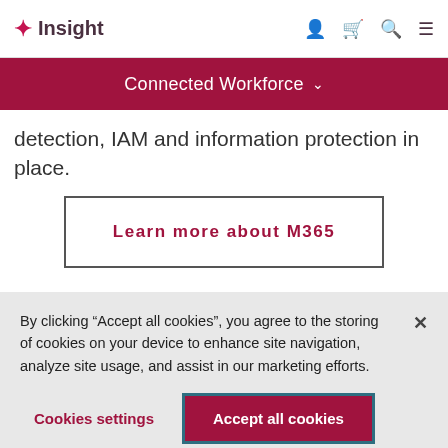Insight
Connected Workforce
detection, IAM and information protection in place.
Learn more about M365
By clicking “Accept all cookies”, you agree to the storing of cookies on your device to enhance site navigation, analyze site usage, and assist in our marketing efforts.
Cookies settings
Accept all cookies